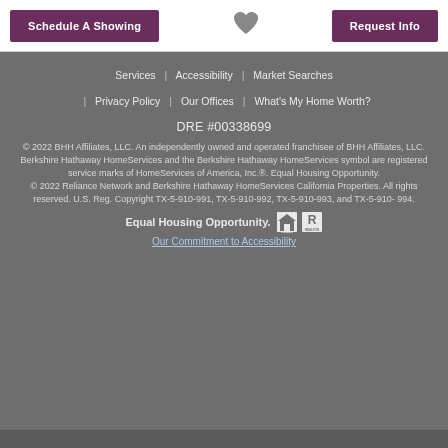Schedule A Showing
[Figure (illustration): Heart icon (favorite/save button)]
Request Info
Services | Accessibility | Market Searches | Privacy Policy | Our Offices | What's My Home Worth?
DRE #00338699
© 2022 BHH Affiliates, LLC. An independently owned and operated franchisee of BHH Affiliates, LLC. Berkshire Hathaway HomeServices and the Berkshire Hathaway HomeServices symbol are registered service marks of HomeServices of America, Inc.®. Equal Housing Opportunity.
© 2022 Reliance Network and Berkshire Hathaway HomeServices California Properties. All rights reserved. U.S. Reg. Copyright TX-5-910-991, TX-5-910-992, TX-5-910-993, and TX-5-910-994.
Equal Housing Opportunity.
Our Commitment to Accessibility